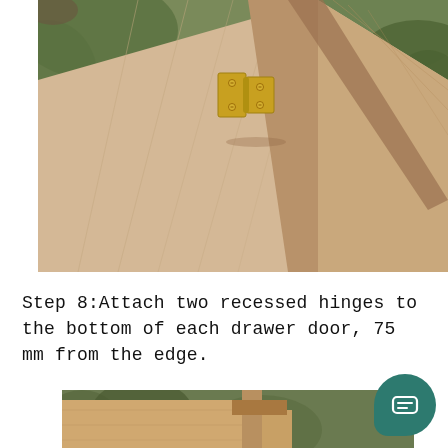[Figure (photo): Close-up photo of wooden planks forming a triangular structure with a brass recessed hinge attached at the joint. The wood is light-coloured cedar, and green foliage is visible in the background.]
Step 8:Attach two recessed hinges to the bottom of each drawer door, 75 mm from the edge.
[Figure (photo): Partial photo showing wooden drawer or door structure outdoors, similar light cedar wood, with green foliage background.]